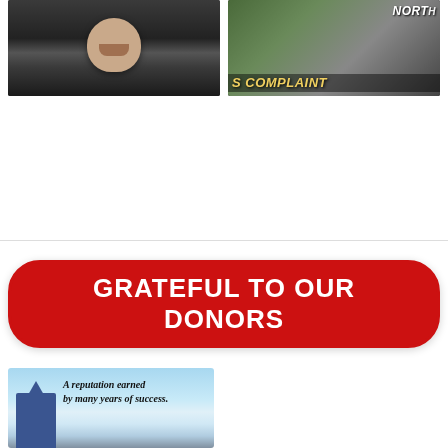[Figure (screenshot): Video thumbnail showing a man's face looking downward, dark background]
[Figure (screenshot): Video thumbnail with text overlay 'NORT' and 'S COMPLAINT' in yellow italic bold text, people in background]
[Figure (infographic): Red rounded banner reading 'GRATEFUL TO OUR DONORS' in white bold text]
[Figure (photo): Advertisement image with sky/building background and text 'A reputation earned by many years of success.']